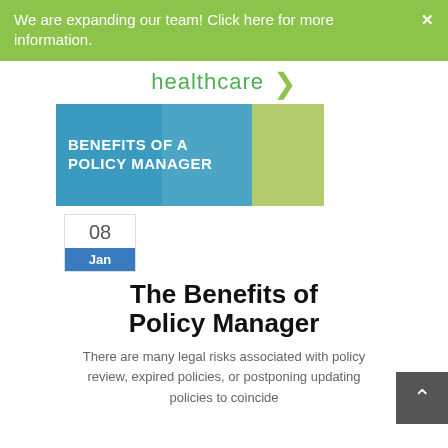We are expanding our team! Click here for more information.
[Figure (logo): Healthcare brand logo with green arrow icon and 'healthcare' text]
[Figure (illustration): Banner image with blue background showing laptop keyboard, text 'BENEFITS OF A POLICY MANAGER' in white bold uppercase, with green rectangle on right side]
08
Jan
The Benefits of Policy Manager
There are many legal risks associated with policy review, expired policies, or postponing updating policies to coincide